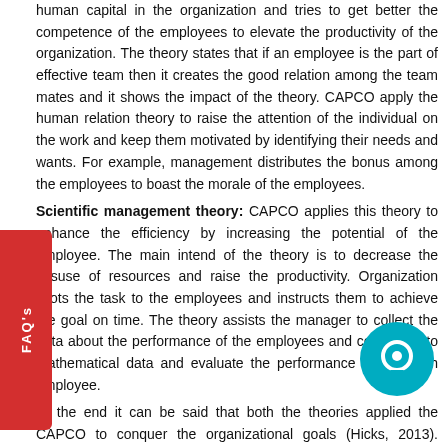human capital in the organization and tries to get better the competence of the employees to elevate the productivity of the organization. The theory states that if an employee is the part of effective team then it creates the good relation among the team mates and it shows the impact of the theory. CAPCO apply the human relation theory to raise the attention of the individual on the work and keep them motivated by identifying their needs and wants. For example, management distributes the bonus among the employees to boast the morale of the employees.
Scientific management theory: CAPCO applies this theory to enhance the efficiency by increasing the potential of the employee. The main intend of the theory is to decrease the misuse of resources and raise the productivity. Organization allots the task to the employees and instructs them to achieve the goal on time. The theory assists the manager to collect the data about the performance of the employees and covert in into mathematical data and evaluate the performance of the each employee. At the end it can be said that both the theories applied the CAPCO to conquer the organizational goals (Hicks, 2013). Human relation theory focuses on the behavior of the employees and